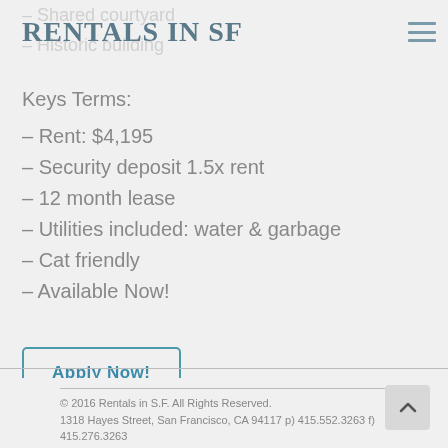Rentals In SF
Keys Terms:
– Rent: $4,195
– Security deposit 1.5x rent
– 12 month lease
– Utilities included: water & garbage
– Cat friendly
– Available Now!
Apply Now!
© 2016 Rentals in S.F. All Rights Reserved.
1318 Hayes Street, San Francisco, CA 94117 p) 415.552.3263 f) 415.276.3263